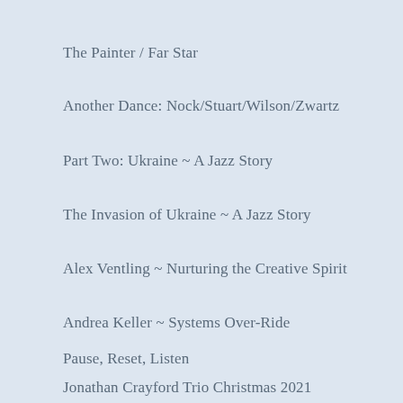The Painter / Far Star
Another Dance: Nock/Stuart/Wilson/Zwartz
Part Two: Ukraine ~ A Jazz Story
The Invasion of Ukraine ~ A Jazz Story
Alex Ventling ~ Nurturing the Creative Spirit
Andrea Keller ~ Systems Over-Ride
Pause, Reset, Listen
Jonathan Crayford Trio Christmas 2021